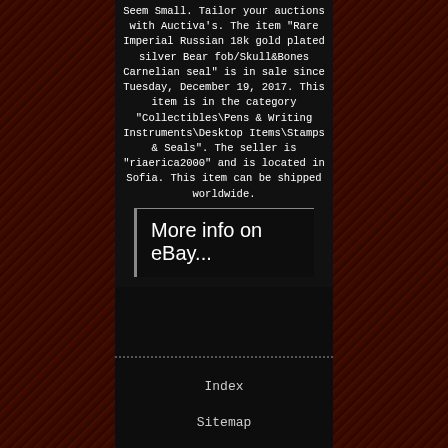Seem Small. Tailor your auctions with Auctiva's. The item "Rare Imperial Russian 18k gold plated silver Bear fob/Skull&Bones Carnelian seal" is in sale since Tuesday, December 19, 2017. This item is in the category "Collectibles\Pens & Writing Instruments\Desktop Items\Stamps & Seals". The seller is "riaerica2000" and is located in Sofia. This item can be shipped worldwide.
More info on eBay...
Index
Sitemap